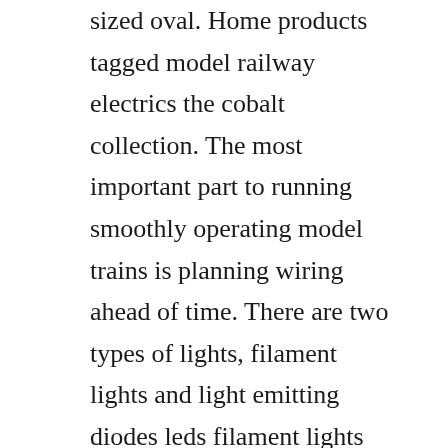sized oval. Home products tagged model railway electrics the cobalt collection. The most important part to running smoothly operating model trains is planning wiring ahead of time. There are two types of lights, filament lights and light emitting diodes leds filament lights incandescent lights filament lights produce their light as a result of passing electricity through a thin piece of wire filament. If such a connector is visible it might be considered unsuitable for a sceniced layout. This is a single car model loosely based on a double car incline that operated at